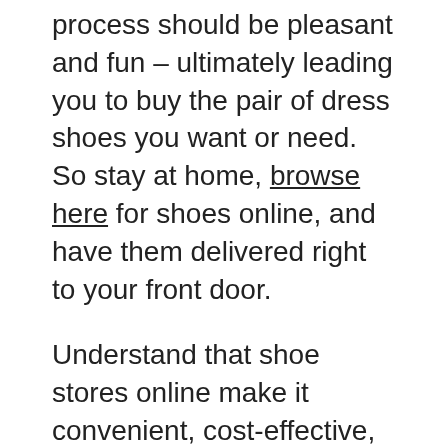process should be pleasant and fun – ultimately leading you to buy the pair of dress shoes you want or need. So stay at home, browse here for shoes online, and have them delivered right to your front door.
Understand that shoe stores online make it convenient, cost-effective, and even fun to shop for women's shoes. You can view hundreds of women's vegan shoes within a short period while sipping a cup of your favourite tea.
For those women who are always in the market for a stylish pair of dress shoes, you will want to know where the best online shoe store is. You will want to compare prices, selections, and styles. Once again, just thinking about doing this the old fashion way can leave you exhausted. Therefore, when you know the occasion, do not waste your time and energy at your local mall; take a short walk over to your computer and start browsing for